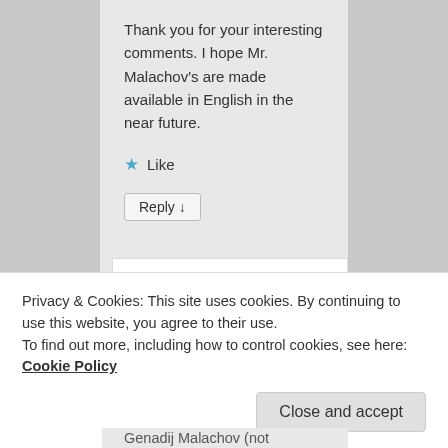Thank you for your interesting comments. I hope Mr. Malachov's are made available in English in the near future.
★ Like
Reply ↓
Yaro on March 9, 2017 at 10:52 AM said:
Privacy & Cookies: This site uses cookies. By continuing to use this website, you agree to their use.
To find out more, including how to control cookies, see here: Cookie Policy
Close and accept
Genadij Malachov (not